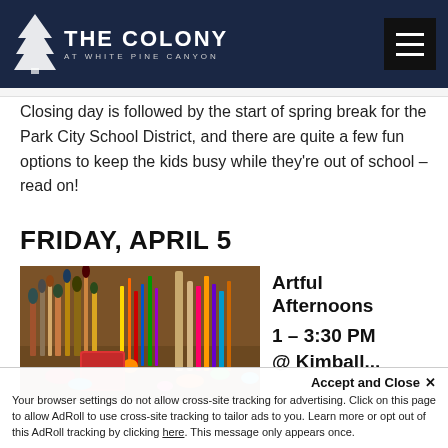[Figure (logo): The Colony at White Pine Canyon logo with pine tree icon and hamburger menu button on dark navy header]
Closing day is followed by the start of spring break for the Park City School District, and there are quite a few fun options to keep the kids busy while they’re out of school – read on!
FRIDAY, APRIL 5
[Figure (photo): Photo of art supplies including paint brushes, scissors, colored pencils, and other craft materials in holders on a wooden surface]
Artful Afternoons
1 – 3:30 PM
@ Kimball...
Accept and Close ×
Your browser settings do not allow cross-site tracking for advertising. Click on this page to allow AdRoll to use cross-site tracking to tailor ads to you. Learn more or opt out of this AdRoll tracking by clicking here. This message only appears once.